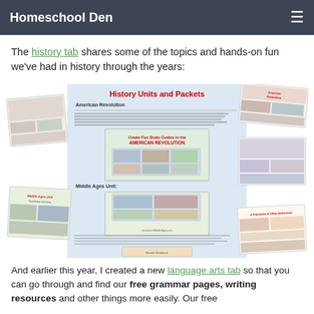Homeschool Den
The history tab shares some of the topics and hands-on fun we've had in history through the years:
[Figure (screenshot): Collage screenshot of Homeschool Den History Units and Packets page showing American Revolution and Middle Ages Unit sections with related images and thumbnails arranged around a central document preview]
And earlier this year, I created a new language arts tab so that you can go through and find our free grammar pages, writing resources and other things more easily. Our free